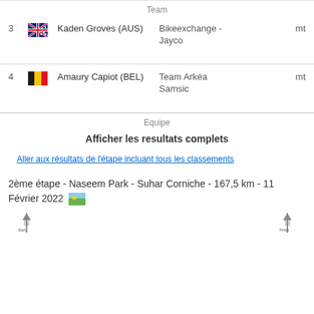| # | Flag | Rider | Team | Time |
| --- | --- | --- | --- | --- |
| 3 | AUS | Kaden Groves (AUS) | Bikeexchange - Jayco | mt |
| 4 | BEL | Amaury Capiot (BEL) | Team Arkéa Samsic | mt |
Equipe
Afficher les resultats complets
Aller aux résultats de l'étape incluant tous les classements
2ème étape - Naseem Park - Suhar Corniche - 167,5 km - 11 Février 2022